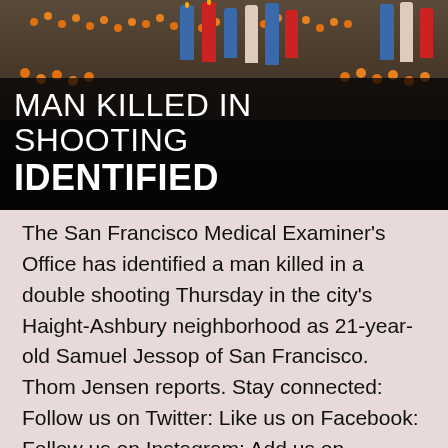[Figure (photo): Memorial altar photo with candles (blue, red, white) and marigold garlands arranged on dark ground, with overlaid headline text 'MAN KILLED IN SHOOTING IDENTIFIED' in white on dark semi-transparent background]
MAN KILLED IN SHOOTING IDENTIFIED
The San Francisco Medical Examiner's Office has identified a man killed in a double shooting Thursday in the city's Haight-Ashbury neighborhood as 21-year-old Samuel Jessop of San Francisco. Thom Jensen reports. Stay connected: Follow us on Twitter: Like us on Facebook: Follow us on Instagram: Add us on Snapchat @NBCBayArea Catch up on all the... Continue reading